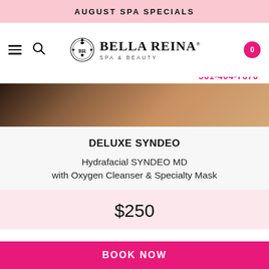AUGUST SPA SPECIALS
[Figure (logo): Bella Reina Spa & Beauty logo with ornate crest emblem]
561-404-7670
[Figure (photo): Close-up photo of skin/face with warm brown tones]
DELUXE SYNDEO
Hydrafacial SYNDEO MD with Oxygen Cleanser & Specialty Mask
$250
BOOK NOW